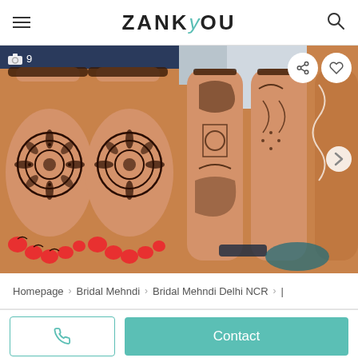ZANKYOU
[Figure (photo): Two photos side by side: left shows feet decorated with intricate henna/mehndi mandala patterns with red nail polish, right shows legs with detailed henna/mehndi patterns. Photo count badge showing camera icon and 9. Share and heart icons visible on the right photo.]
Homepage › Bridal Mehndi › Bridal Mehndi Delhi NCR ›
Contact